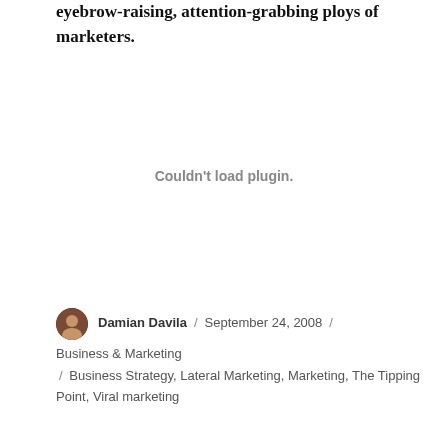eyebrow-raising, attention-grabbing ploys of marketers.
Couldn't load plugin.
Damian Davila / September 24, 2008 / Business & Marketing / Business Strategy, Lateral Marketing, Marketing, The Tipping Point, Viral marketing